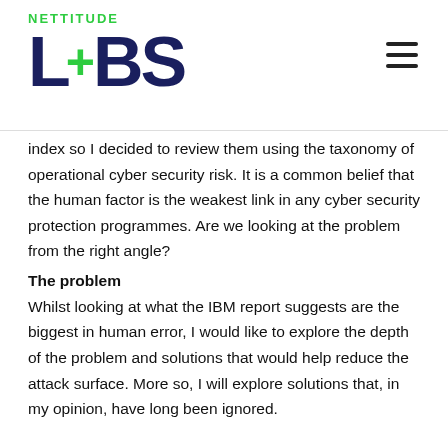[Figure (logo): Nettitude LABS logo with green plus sign and dark navy lettering, plus hamburger menu icon]
index so I decided to review them using the taxonomy of operational cyber security risk. It is a common belief that the human factor is the weakest link in any cyber security protection programmes. Are we looking at the problem from the right angle?
The problem
Whilst looking at what the IBM report suggests are the biggest in human error, I would like to explore the depth of the problem and solutions that would help reduce the attack surface. More so, I will explore solutions that, in my opinion, have long been ignored.